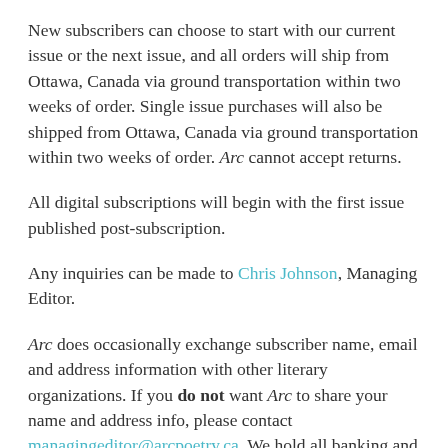New subscribers can choose to start with our current issue or the next issue, and all orders will ship from Ottawa, Canada via ground transportation within two weeks of order. Single issue purchases will also be shipped from Ottawa, Canada via ground transportation within two weeks of order. Arc cannot accept returns.
All digital subscriptions will begin with the first issue published post-subscription.
Any inquiries can be made to Chris Johnson, Managing Editor.
Arc does occasionally exchange subscriber name, email and address information with other literary organizations. If you do not want Arc to share your name and address info, please contact managingeditor@arcpoetry.ca. We hold all banking and credit card information in the utmost confidentiality.